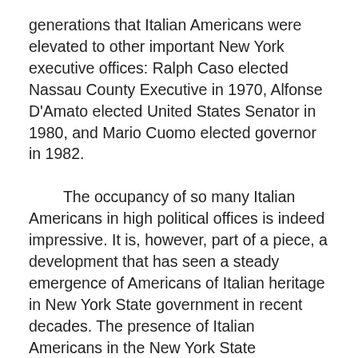generations that Italian Americans were elevated to other important New York executive offices: Ralph Caso elected Nassau County Executive in 1970, Alfonse D'Amato elected United States Senator in 1980, and Mario Cuomo elected governor in 1982.
	The occupancy of so many Italian Americans in high political offices is indeed impressive. It is, however, part of a piece, a development that has seen a steady emergence of Americans of Italian heritage in New York State government in recent decades. The presence of Italian Americans in the New York State Legislature, which includes the New York State Assembly and the New York Senate, offers further convincing evidence of the ethnic groups' political emergence. The best estimates are that in the 1990s Italian Americans represent approximately 16% of the population of New York State. Whereas in 1950 only 23 Italian Americans (6%) were members of the New York State